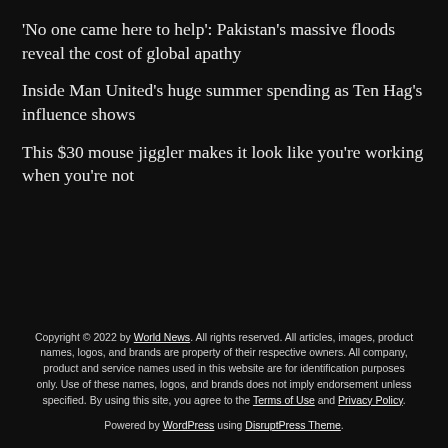'No one came here to help': Pakistan's massive floods reveal the cost of global apathy
Inside Man United's huge summer spending as Ten Hag's influence shows
This $30 mouse jiggler makes it look like you're working when you're not
Copyright © 2022 by World News. All rights reserved. All articles, images, product names, logos, and brands are property of their respective owners. All company, product and service names used in this website are for identification purposes only. Use of these names, logos, and brands does not imply endorsement unless specified. By using this site, you agree to the Terms of Use and Privacy Policy.

Powered by WordPress using DisruptPress Theme.